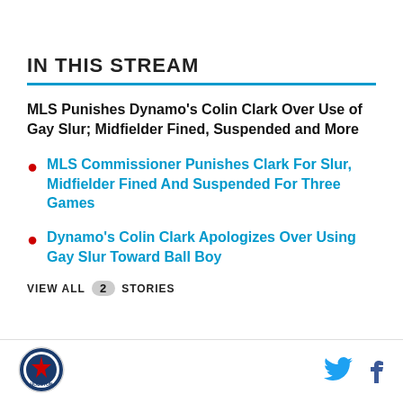IN THIS STREAM
MLS Punishes Dynamo's Colin Clark Over Use of Gay Slur; Midfielder Fined, Suspended and More
MLS Commissioner Punishes Clark For Slur, Midfielder Fined And Suspended For Three Games
Dynamo's Colin Clark Apologizes Over Using Gay Slur Toward Ball Boy
VIEW ALL 2 STORIES